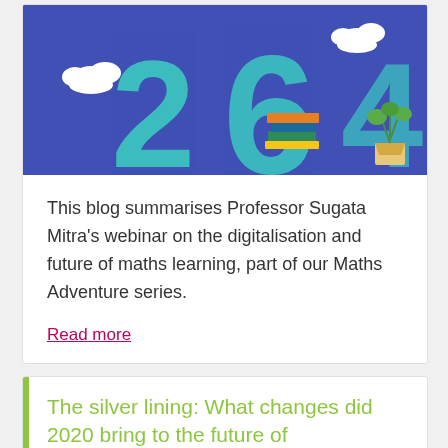[Figure (illustration): Blue banner with large teal '264' numbers, white cloud illustrations, a stack of colorful books, and a plant pot]
This blog summarises Professor Sugata Mitra's webinar on the digitalisation and future of maths learning, part of our Maths Adventure series.
Read more
The silver lining: What changes did 2020 bring to the future of